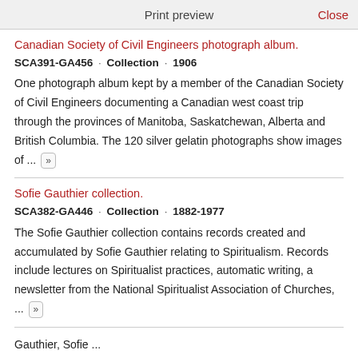Print preview   Close
Canadian Society of Civil Engineers photograph album.
SCA391-GA456 · Collection · 1906
One photograph album kept by a member of the Canadian Society of Civil Engineers documenting a Canadian west coast trip through the provinces of Manitoba, Saskatchewan, Alberta and British Columbia. The 120 silver gelatin photographs show images of ... »
Sofie Gauthier collection.
SCA382-GA446 · Collection · 1882-1977
The Sofie Gauthier collection contains records created and accumulated by Sofie Gauthier relating to Spiritualism. Records include lectures on Spiritualist practices, automatic writing, a newsletter from the National Spiritualist Association of Churches, ... »
Gauthier, Sofie ...